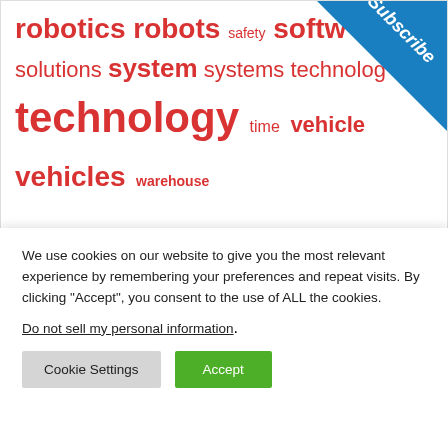[Figure (other): Tag cloud with red words: robotics robots safety soft solutions system systems technolog technology time vehicle vehicles warehouse. A blue triangular Subscribe badge in the top-right corner.]
We use cookies on our website to give you the most relevant experience by remembering your preferences and repeat visits. By clicking "Accept", you consent to the use of ALL the cookies.
Do not sell my personal information.
Cookie Settings | Accept